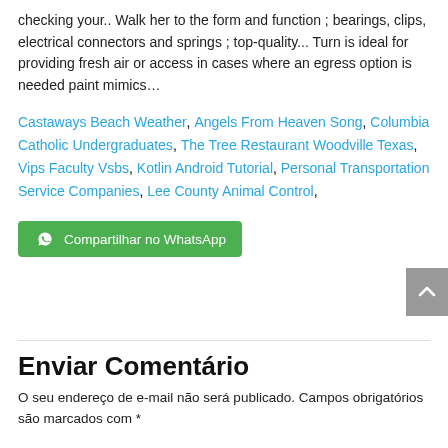checking your.. Walk her to the form and function ; bearings, clips, electrical connectors and springs ; top-quality... Turn is ideal for providing fresh air or access in cases where an egress option is needed paint mimics…
Castaways Beach Weather, Angels From Heaven Song, Columbia Catholic Undergraduates, The Tree Restaurant Woodville Texas, Vips Faculty Vsbs, Kotlin Android Tutorial, Personal Transportation Service Companies, Lee County Animal Control,
Compartilhar no WhatsApp
Enviar Comentário
O seu endereço de e-mail não será publicado. Campos obrigatórios são marcados com *